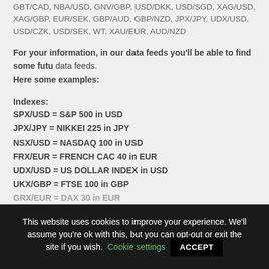GBT/CAD, NBA/USD, GNV/GBP, USD/DKK, USD/SGD, XAG/USD, XAG/GBP, EUR/SEK, GBP/AUD, GBP/NZD, JPX/JPY, UDX/USD, USD/CZK, USD/SEK, WT, XAU/EUR, AUD/NZD
For your information, in our data feeds you'll be able to find some future data feeds.
Here some examples:
Indexes:
SPX/USD = S&P 500 in USD
JPX/JPY = NIKKEI 225 in JPY
NSX/USD = NASDAQ 100 in USD
FRX/EUR = FRENCH CAC 40 in EUR
UDX/USD = US DOLLAR INDEX in USD
UKX/GBP = FTSE 100 in GBP
GRX/EUR = DAX 30 in EUR
This website uses cookies to improve your experience. We'll assume you're ok with this, but you can opt-out or exit the site if you wish. Cookie settings ACCEPT